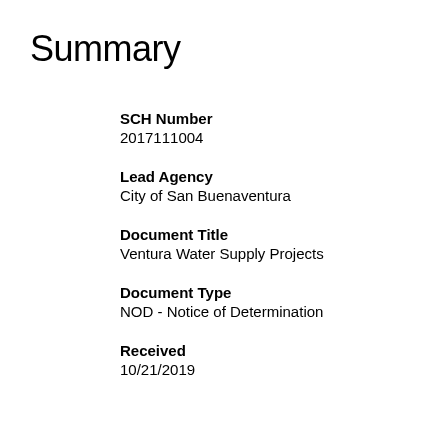Summary
SCH Number
2017111004
Lead Agency
City of San Buenaventura
Document Title
Ventura Water Supply Projects
Document Type
NOD - Notice of Determination
Received
10/21/2019